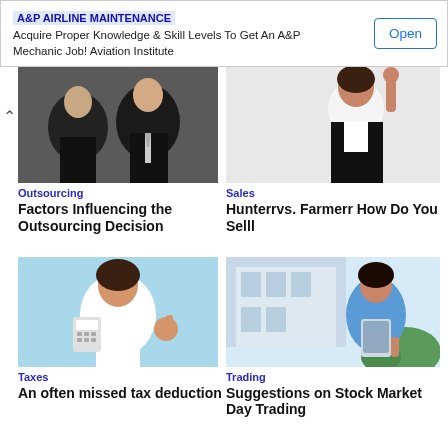[Figure (infographic): Advertisement banner: 'Acquire Proper Knowledge & Skill Levels To Get An A&P Mechanic Job! Aviation Institute' with an Open button]
[Figure (photo): Business people in suits, back and front view, interview or outsourcing meeting scene]
Outsourcing
Factors Influencing the Outsourcing Decision
[Figure (photo): Smiling Asian woman in black blazer making a phone gesture with her hand, sales concept]
Sales
Hunterrvs. Farmerr How Do You Selll
[Figure (photo): Smiling young woman holding a calculator and making an OK sign, taxes concept, light blue background]
Taxes
An often missed tax deduction
[Figure (photo): Asian woman in blue shirt holding a tablet outdoors, stock market trading concept]
Trading
Suggestions on Stock Market Day Trading